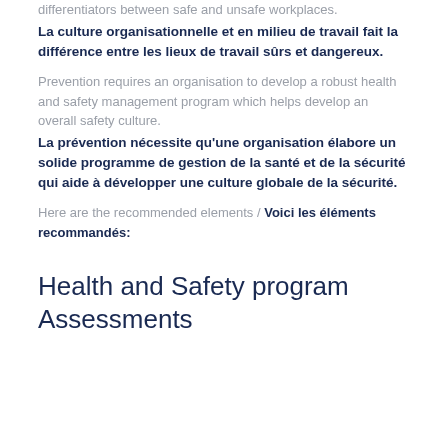differentiators between safe and unsafe workplaces.
La culture organisationnelle et en milieu de travail fait la différence entre les lieux de travail sûrs et dangereux.
Prevention requires an organisation to develop a robust health and safety management program which helps develop an overall safety culture.
La prévention nécessite qu'une organisation élabore un solide programme de gestion de la santé et de la sécurité qui aide à développer une culture globale de la sécurité.
Here are the recommended elements / Voici les éléments recommandés:
Health and Safety program Assessments